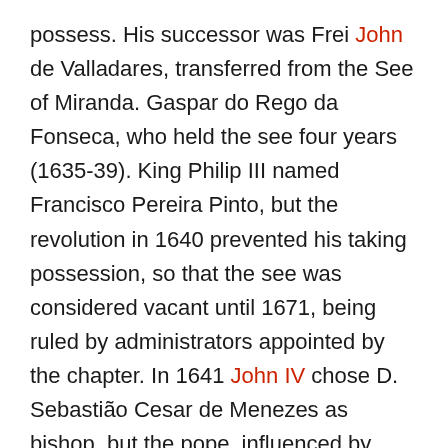possess. His successor was Frei John de Valladares, transferred from the See of Miranda. Gaspar do Rego da Fonseca, who held the see four years (1635-39). King Philip III named Francisco Pereira Pinto, but the revolution in 1640 prevented his taking possession, so that the see was considered vacant until 1671, being ruled by administrators appointed by the chapter. In 1641 John IV chose D. Sebastião Cesar de Menezes as bishop, but the pope, influenced by Spain, would neither recognize the new King of Portugal nor confirm his nominations. Next came Frei Pedro de Menezes; Nicolau Monteiro took possession in 1671. Fernando Correia de Lacerda, in 1673, who